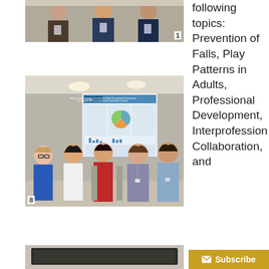[Figure (photo): Group of people standing together at a conference, wearing name badges and lanyards.]
[Figure (photo): Five women standing in front of an academic research poster at a conference. The poster is from SJSU and is titled about Cognitive Orientation to Occupational Performance in Children with Developmental Coordination Disorder.]
[Figure (photo): Partial view of a presentation or conference display screen.]
following topics: Prevention of Falls, Play Patterns in Adults, Professional Development, Interprofessional Collaboration, and
Subscribe